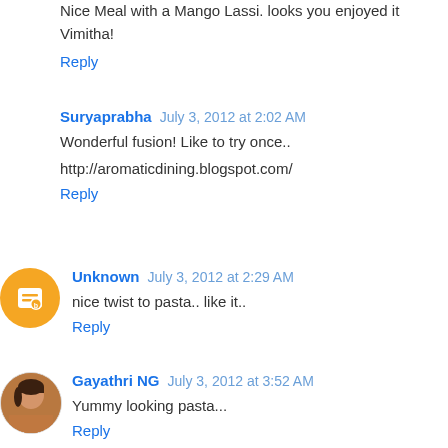Nice Meal with a Mango Lassi. looks you enjoyed it Vimitha!
Reply
Suryaprabha July 3, 2012 at 2:02 AM
Wonderful fusion! Like to try once..
http://aromaticdining.blogspot.com/
Reply
Unknown July 3, 2012 at 2:29 AM
nice twist to pasta.. like it..
Reply
Gayathri NG July 3, 2012 at 3:52 AM
Yummy looking pasta...
Reply